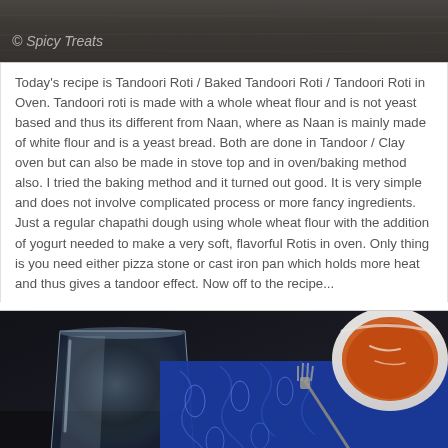[Figure (photo): Top portion of a food blog image on dark wooden background with watermark '© Spicy Treats']
Today's recipe is Tandoori Roti / Baked Tandoori Roti / Tandoori Roti in Oven. Tandoori roti is made with a whole wheat flour and is not yeast based and thus its different from Naan, where as Naan is mainly made of white flour and is a yeast bread. Both are done in Tandoor / Clay oven but can also be made in stove top and in oven/baking method also. I tried the baking method and it turned out good. It is very simple and does not involve complicated process or more fancy ingredients. Just a regular chapathi dough using whole wheat flour with the addition of yogurt needed to make a very soft, flavorful Rotis in oven. Only thing is you need either pizza stone or cast iron pan which holds more heat and thus gives a tandoor effect. Now off to the recipe...
[Figure (photo): Bottom food photo showing a glass of water, blue decorative fabric/napkin with fork, and a white bowl with curry on the right side]